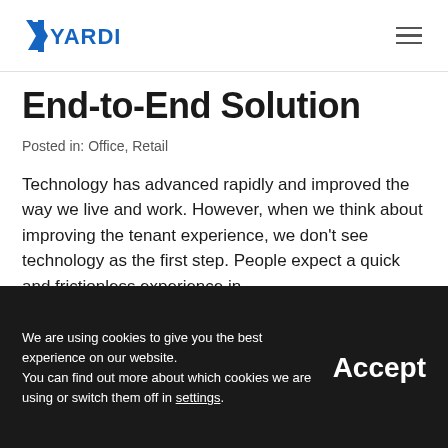YARDI
End-to-End Solution
Posted in: Office, Retail
Technology has advanced rapidly and improved the way we live and work. However, when we think about improving the tenant experience, we don't see technology as the first step. People expect a quick and frictionless experience in
We are using cookies to give you the best experience on our website. You can find out more about which cookies we are using or switch them off in settings. Accept